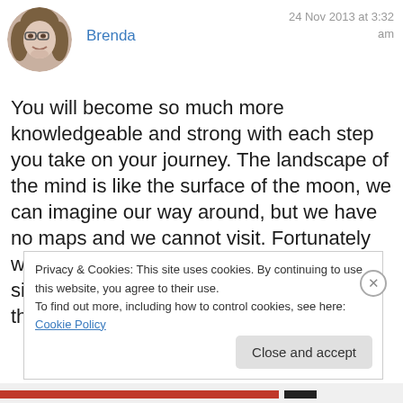[Figure (photo): Circular avatar photo of Brenda, a woman with long brown hair and glasses, smiling]
Brenda
24 Nov 2013 at 3:32 am
You will become so much more knowledgeable and strong with each step you take on your journey. The landscape of the mind is like the surface of the moon, we can imagine our way around, but we have no maps and we cannot visit. Fortunately we have faith, love and loyalty on our sides. Blessings to you and yours and thanks for the visit! Brenda
Privacy & Cookies: This site uses cookies. By continuing to use this website, you agree to their use.
To find out more, including how to control cookies, see here: Cookie Policy
Close and accept